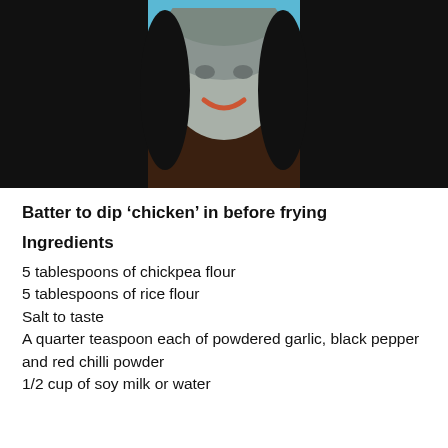[Figure (photo): Person wearing a grey knit hat/balaclava with long dark hair, photographed against a blue background, smiling]
Batter to dip ‘chicken’ in before frying
Ingredients
5 tablespoons of chickpea flour
5 tablespoons of rice flour
Salt to taste
A quarter teaspoon each of powdered garlic, black pepper and red chilli powder
1/2 cup of soy milk or water